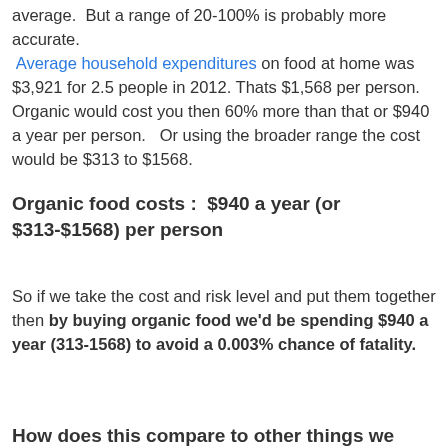average. But a range of 20-100% is probably more accurate. Average household expenditures on food at home was $3,921 for 2.5 people in 2012. Thats $1,568 per person. Organic would cost you then 60% more than that or $940 a year per person. Or using the broader range the cost would be $313 to $1568.
Organic food costs : $940 a year (or $313-$1568) per person
So if we take the cost and risk level and put them together then by buying organic food we'd be spending $940 a year (313-1568) to avoid a 0.003% chance of fatality.
How does this compare to other things we spend our money on?
How new is your car? Is it a model with all the latest and